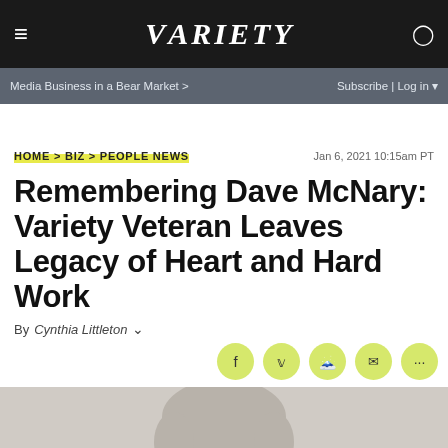VARIETY
Media Business in a Bear Market > | Subscribe | Log in
HOME > BIZ > PEOPLE NEWS
Jan 6, 2021 10:15am PT
Remembering Dave McNary: Variety Veteran Leaves Legacy of Heart and Hard Work
By Cynthia Littleton
[Figure (photo): Portrait photo of Dave McNary, an older man with light grey/white hair, wearing a suit, photographed against a light background]
Dave McNary